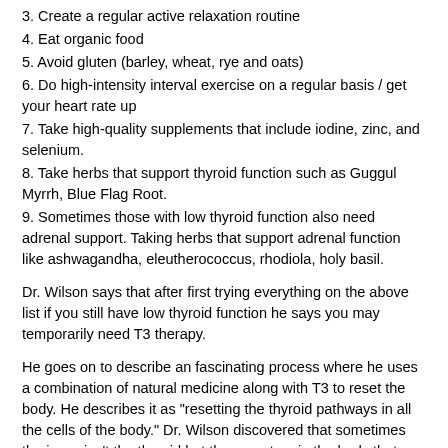3.  Create a regular active relaxation routine
4. Eat organic food
5. Avoid gluten (barley, wheat, rye and oats)
6.  Do high-intensity interval exercise on a regular basis / get your heart rate up
7. Take high-quality supplements that include iodine, zinc, and selenium.
8. Take herbs that support thyroid function such as Guggul Myrrh, Blue Flag Root.
9. Sometimes those with low thyroid function also need adrenal support. Taking herbs that support adrenal function like ashwagandha, eleutherococcus, rhodiola, holy basil.
Dr. Wilson says that after first trying everything on the above list if you still have low thyroid function he says you may temporarily need T3 therapy.
He goes on to describe an fascinating process where he uses a combination of natural medicine along with T3 to reset the body. He describes it as "resetting the thyroid pathways in all the cells of the body."  Dr. Wilson discovered that sometimes the issue isn't the thyroid but the receptors in the body that can be reset.
Dr. Wilson successfully works with patients to get their thyroid functioning healthfully again and get them off their medication!
You can have your doctor Dr. Wilson's office 800-420-5801 to place orders or to make appointments for free medical technical training so that your doctor